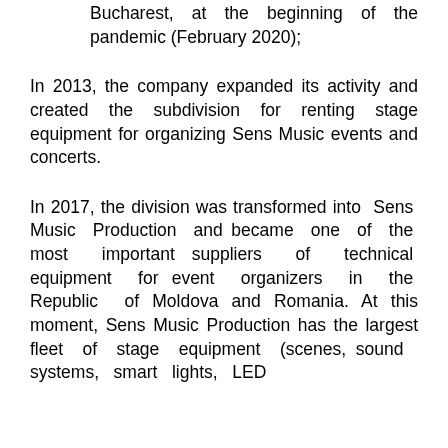Bucharest, at the beginning of the pandemic (February 2020);
In 2013, the company expanded its activity and created the subdivision for renting stage equipment for organizing Sens Music events and concerts.
In 2017, the division was transformed into Sens Music Production and became one of the most important suppliers of technical equipment for event organizers in the Republic of Moldova and Romania. At this moment, Sens Music Production has the largest fleet of stage equipment (scenes, sound systems, smart lights, LED